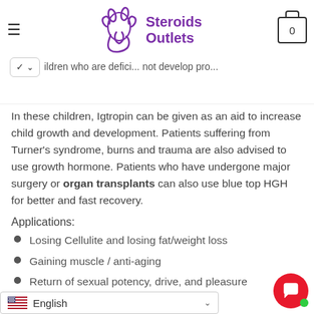Steroids Outlets
In these children, Igtropin can be given as an aid to increase child growth and development. Patients suffering from Turner's syndrome, burns and trauma are also advised to use growth hormone. Patients who have undergone major surgery or organ transplants can also use blue top HGH for better and fast recovery.
Applications:
Losing Cellulite and losing fat/weight loss
Gaining muscle / anti-aging
Return of sexual potency, drive, and pleasure
Restful sleep (even for insomniacs)
…e of well being